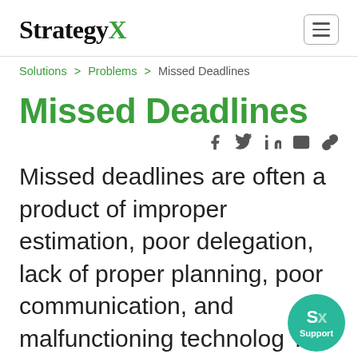StrategyX
Solutions > Problems > Missed Deadlines
Missed Deadlines
Missed deadlines are often a product of improper estimation, poor delegation, lack of proper planning, poor communication, and malfunctioning technology. This often results in cost overrun,